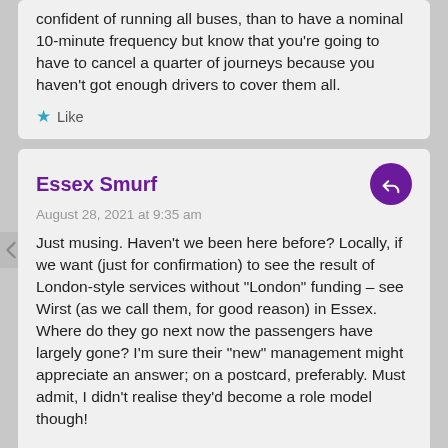confident of running all buses, than to have a nominal 10-minute frequency but know that you're going to have to cancel a quarter of journeys because you haven't got enough drivers to cover them all.
Like
Essex Smurf
August 28, 2021 at 9:35 am
Just musing. Haven't we been here before? Locally, if we want (just for confirmation) to see the result of London-style services without "London" funding – see Wirst (as we call them, for good reason) in Essex. Where do they go next now the passengers have largely gone? I'm sure their "new" management might appreciate an answer; on a postcard, preferably. Must admit, I didn't realise they'd become a role model though!